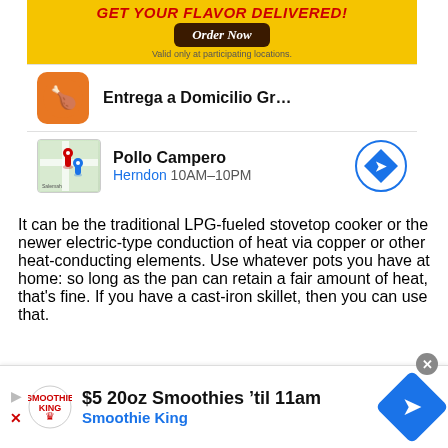[Figure (screenshot): Pollo Campero advertisement banner: 'GET YOUR FLAVOR DELIVERED!' with Order Now button, Entrega a Domicilio delivery listing, and Pollo Campero Herndon 10AM–10PM location card]
It can be the traditional LPG-fueled stovetop cooker or the newer electric-type conduction of heat via copper or other heat-conducting elements. Use whatever pots you have at home: so long as the pan can retain a fair amount of heat, that's fine. If you have a cast-iron skillet, then you can use that.
[Figure (screenshot): Smoothie King advertisement: '$5 20oz Smoothies 'til 11am' with Smoothie King branding and navigation arrow icon]